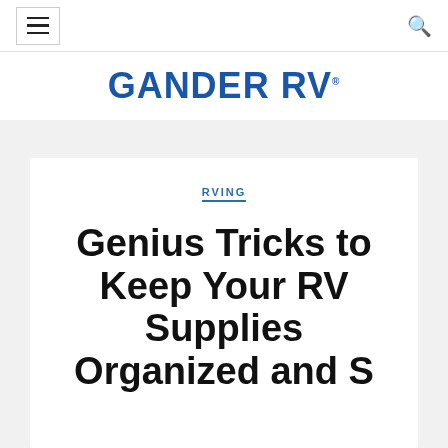≡  Q
[Figure (logo): GANDER RV logo in bold blue uppercase text]
RVING
Genius Tricks to Keep Your RV Supplies Organized and S…